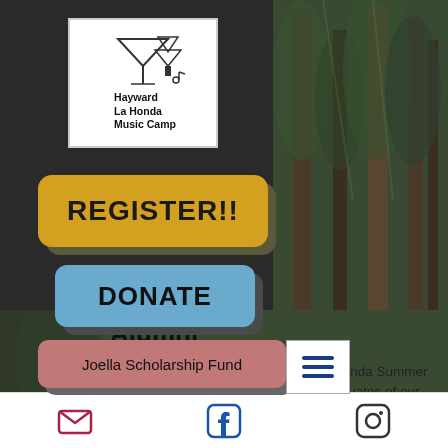[Figure (logo): Hayward La Honda Music Camp logo with tree and musical note graphics]
REGISTER!!
DONATE
Joella Scholarship Fund
[Figure (photo): Forest of tall redwood trees]
Alumni
Over the course of six decades, La Honda Summer Music Camp has almost 12,000 graduates of our
[Figure (infographic): Footer social icons: email, Facebook, Instagram]